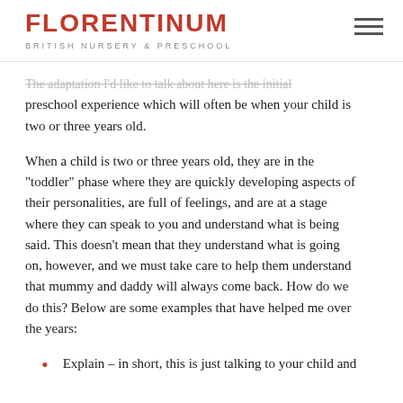FLORENTINUM
BRITISH NURSERY & PRESCHOOL
The adaptation I'd like to talk about here is the initial preschool experience which will often be when your child is two or three years old.
When a child is two or three years old, they are in the "toddler" phase where they are quickly developing aspects of their personalities, are full of feelings, and are at a stage where they can speak to you and understand what is being said. This doesn't mean that they understand what is going on, however, and we must take care to help them understand that mummy and daddy will always come back. How do we do this? Below are some examples that have helped me over the years:
Explain – in short, this is just talking to your child and